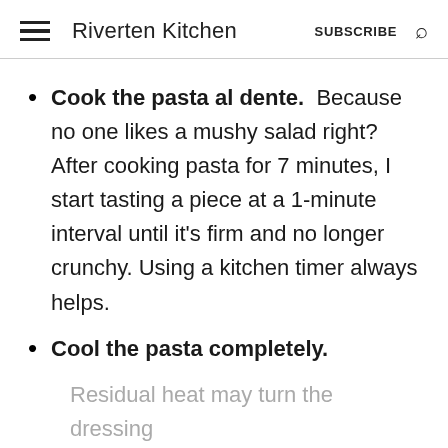Riverten Kitchen  SUBSCRIBE
Cook the pasta al dente. Because no one likes a mushy salad right? After cooking pasta for 7 minutes, I start tasting a piece at a 1-minute interval until it's firm and no longer crunchy. Using a kitchen timer always helps.
Cool the pasta completely.
Residual heat may turn the dressing to curdle.